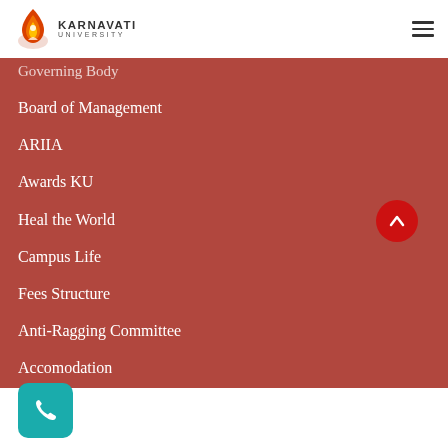[Figure (logo): Karnavati University logo with flame icon and text KARNAVATI UNIVERSITY]
Governing Body
Board of Management
ARIIA
Awards KU
Heal the World
Campus Life
Fees Structure
Anti-Ragging Committee
Accomodation
Youth Parliament of India
[Figure (other): Teal phone contact button at bottom left]